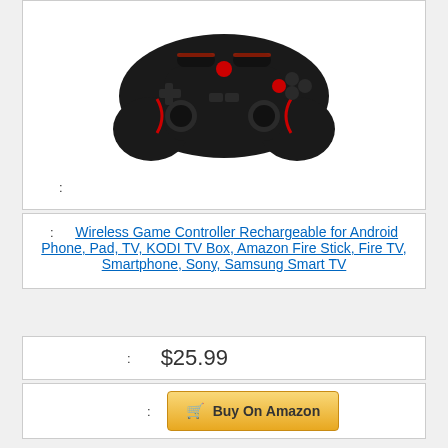[Figure (photo): Black and red wireless game controller (gamepad) shown from above against white background]
:
: Wireless Game Controller Rechargeable for Android Phone, Pad, TV, KODI TV Box, Amazon Fire Stick, Fire TV, Smartphone, Sony, Samsung Smart TV
: $25.99
: Buy On Amazon
: 7